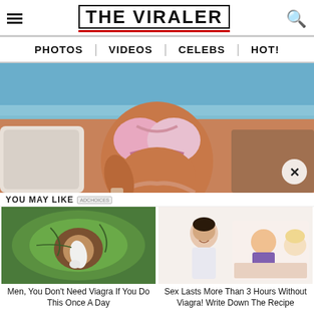THE VIRALER
PHOTOS | VIDEOS | CELEBS | HOT!
[Figure (photo): Woman in colorful bikini on a yacht or boat deck, holding a drink, ocean background, torso/midriff shot]
YOU MAY LIKE
[Figure (photo): Close-up of an avocado or vegetable cut open, suggestive shape]
Men, You Don't Need Viagra If You Do This Once A Day
[Figure (photo): Doctor with cartoon/illustration of couple in bed]
Sex Lasts More Than 3 Hours Without Viagra! Write Down The Recipe